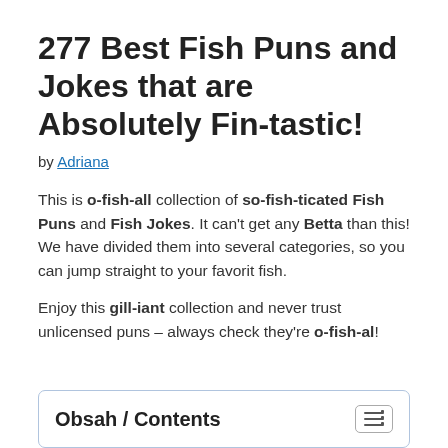277 Best Fish Puns and Jokes that are Absolutely Fin-tastic!
by Adriana
This is o-fish-all collection of so-fish-ticated Fish Puns and Fish Jokes. It can't get any Betta than this! We have divided them into several categories, so you can jump straight to your favorit fish.
Enjoy this gill-iant collection and never trust unlicensed puns – always check they're o-fish-al!
Obsah / Contents